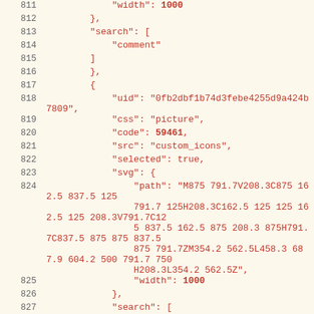Code listing lines 811-831 showing JSON data with uid, css, code, src, selected, svg path, width, search fields
811    "width": 1000
812    },
813    "search": [
814        "comment"
815    ]
816    },
817    {
818    "uid": "0fb2dbf1b74d3febe4255d9a424b7809",
819    "css": "picture",
820    "code": 59461,
821    "src": "custom_icons",
822    "selected": true,
823    "svg": {
824    "path": "M875 791.7V208.3C875 162.5 837.5 125 791.7 125H208.3C162.5 125 125 162.5 125 208.3V791.7C125 837.5 162.5 875 208.3 875H791.7C837.5 875 875 837.5 875 791.7ZM354.2 562.5L458.3 687.9 604.2 500 791.7 750 H208.3L354.2 562.5Z",
825    "width": 1000
826    },
827    "search": [
828        "picture"
829    ]
830    },
831    {